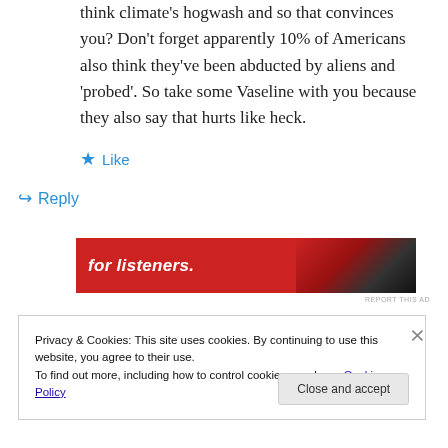think climate's hogwash and so that convinces you? Don't forget apparently 10% of Americans also think they've been abducted by aliens and 'probed'. So take some Vaseline with you because they also say that hurts like heck.
★ Like
↪ Reply
[Figure (screenshot): Red advertisement banner with white italic bold text 'for listeners.' and a dark device image on the right]
REPORT THIS AD
Privacy & Cookies: This site uses cookies. By continuing to use this website, you agree to their use.
To find out more, including how to control cookies, see here: Cookie Policy
Close and accept